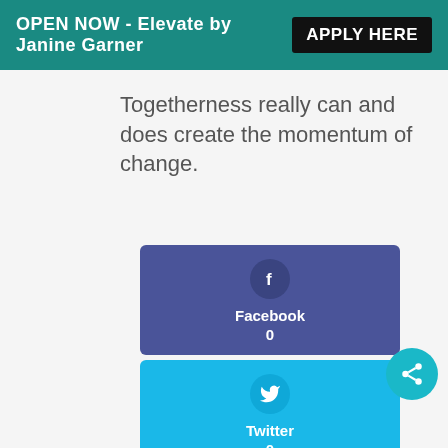OPEN NOW - Elevate by Janine Garner  APPLY HERE
Togetherness really can and does create the momentum of change.
[Figure (infographic): Facebook social share button card with Facebook icon circle, label 'Facebook' and count '0']
[Figure (infographic): Twitter social share button card with Twitter bird icon circle, label 'Twitter' and count '0']
[Figure (infographic): LinkedIn social share button card partially visible with LinkedIn icon circle]